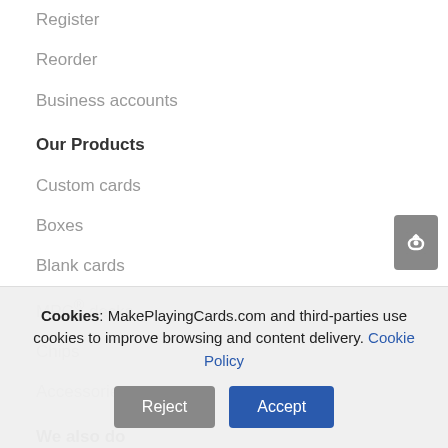Register
Reorder
Business accounts
Our Products
Custom cards
Boxes
Blank cards
MPC® decks
Chips
Accessories
We also do
Custom Jigsaw Puzzles
Our Company
Contact us
Cookies: MakePlayingCards.com and third-parties use cookies to improve browsing and content delivery. Cookie Policy
Reject | Accept